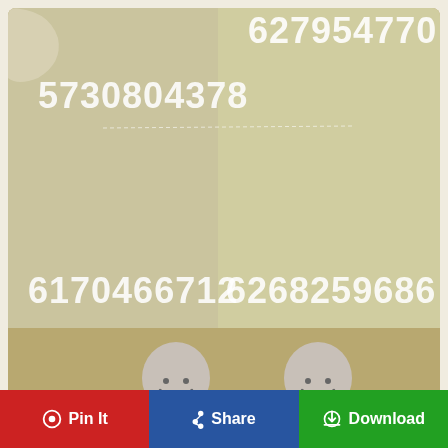[Figure (screenshot): Roblox game screenshot showing two blocky avatar characters (Roblox noobs) wearing casual/trendy outfits, standing in a glamorous indoor room setting. Numbers overlaid: 627954770 (top right), 5730804378 (top left area), 6170466712 (bottom left), 6268259686 (bottom right). A small decorative text separator line appears between the top codes.]
100 Roblox codes ideas roblox codes, roblox, bloxburg...
Pin It   Share   Download